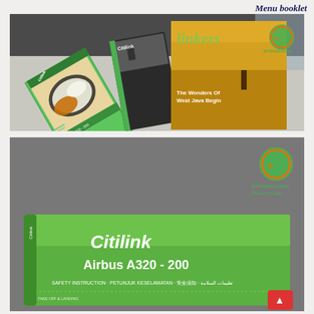Menu booklet
[Figure (photo): Photo of Citilink Airbus A320-200 menu booklet and Linkers magazine showing The Wonders Of West Java Begin cover, placed on an airplane tray table. Mytravelicious logo visible in top right corner.]
[Figure (photo): Close-up photo of Citilink Airbus A320-200 safety instruction card (green background) with Mytravelicious logo in top right corner. Text reads: Citilink Airbus A320 - 200, SAFETY INSTRUCTION · PETUNJUK KESELAMATAN and multilingual safety text.]